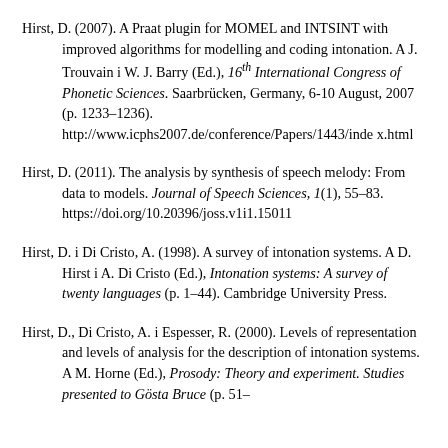Hirst, D. (2007). A Praat plugin for MOMEL and INTSINT with improved algorithms for modelling and coding intonation. A J. Trouvain i W. J. Barry (Ed.), 16th International Congress of Phonetic Sciences. Saarbrücken, Germany, 6-10 August, 2007 (p. 1233–1236). http://www.icphs2007.de/conference/Papers/1443/index.html
Hirst, D. (2011). The analysis by synthesis of speech melody: From data to models. Journal of Speech Sciences, 1(1), 55–83. https://doi.org/10.20396/joss.v1i1.15011
Hirst, D. i Di Cristo, A. (1998). A survey of intonation systems. A D. Hirst i A. Di Cristo (Ed.), Intonation systems: A survey of twenty languages (p. 1–44). Cambridge University Press.
Hirst, D., Di Cristo, A. i Espesser, R. (2000). Levels of representation and levels of analysis for the description of intonation systems. A M. Horne (Ed.), Prosody: Theory and experiment. Studies presented to Gösta Bruce (p. 51–